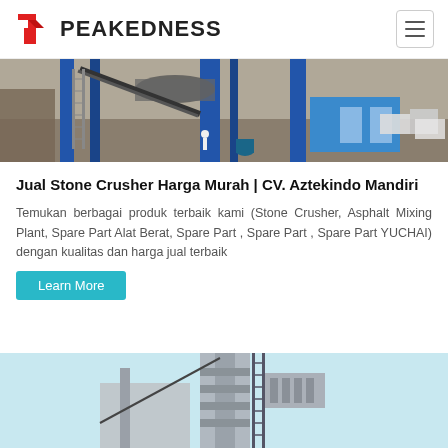PEAKEDNESS
[Figure (photo): Industrial asphalt mixing plant with blue steel structures, conveyor belts, and machinery on a construction site]
Jual Stone Crusher Harga Murah | CV. Aztekindo Mandiri
Temukan berbagai produk terbaik kami (Stone Crusher, Asphalt Mixing Plant, Spare Part Alat Berat, Spare Part , Spare Part , Spare Part YUCHAI) dengan kualitas dan harga jual terbaik
Learn More
[Figure (photo): Tall industrial mixing plant tower against a light blue sky background]